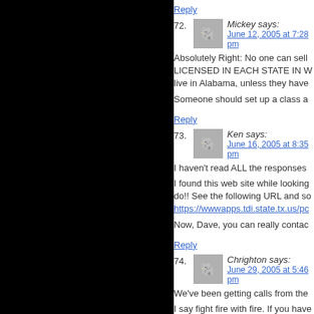Reply
72. Mickey says: June 12, 2005 at 7:28 pm
Absolutely Right: No one can sell LICENSED IN EACH STATE IN W... live in Alabama, unless they have
Someone should set up a class a
Reply
73. Ken says: June 16, 2005 at 8:35 pm
I haven't read ALL the responses
I found this web site while looking do!! See the following URL and so https://wwwapps.tdi.state.tx.us/pc
Now, Dave, you can really contac
Reply
74. Chrighton says: June 29, 2005 at 5:46 pm
We've been getting calls from the
I say fight fire with fire. If you have continually dial them). See how th